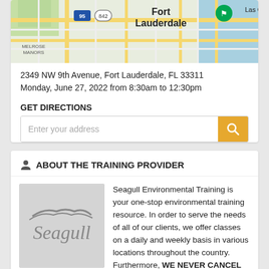[Figure (map): Google Maps showing Fort Lauderdale area with I-95 and route 842 visible, Melrose Manors label, and a location pin]
2349 NW 9th Avenue, Fort Lauderdale, FL 33311
Monday, June 27, 2022 from 8:30am to 12:30pm
GET DIRECTIONS
[Figure (screenshot): Address search input field with orange search button]
ABOUT THE TRAINING PROVIDER
[Figure (logo): Seagull Environmental Training logo — gray background with 'Seagull' text]
Seagull Environmental Training is your one-stop environmental training resource. In order to serve the needs of all of our clients, we offer classes on a daily and weekly basis in various locations throughout the country. Furthermore, WE NEVER CANCEL CLASSES, so our students can trust